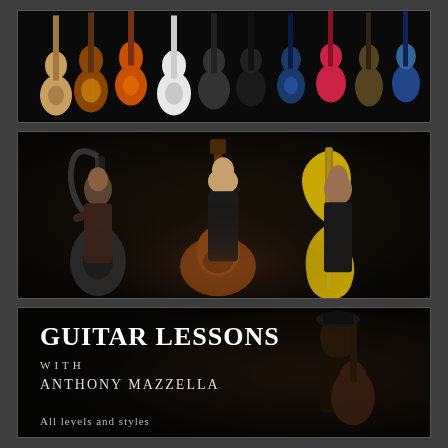[Figure (photo): A row of various guitars (acoustic, electric, classical, bass) hanging against a dark background — a guitar wall display with many different models visible.]
[Figure (photo): Three musicians sitting/posing with exotic harp-guitar hybrid instruments against a dark background. The center musician holds a large wooden harp-guitar, the left holds a dark multi-stringed instrument, the right holds a yellow teardrop-shaped instrument.]
[Figure (photo): Dark-background promotional image for guitar lessons. Left side has white text reading: GUITAR LESSONS with Anthony Mazzella, All levels and styles. Right side shows a figure playing guitar.]
Guitar Lessons
with
Anthony Mazzella
All levels and styles